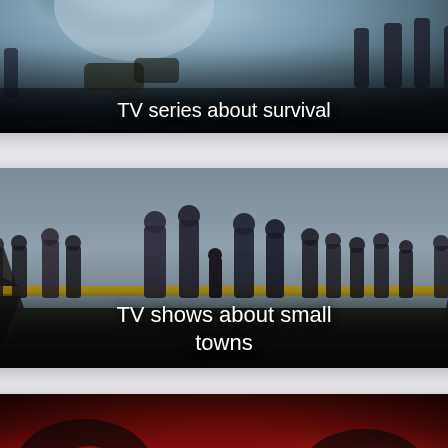[Figure (photo): TV series promotional image with dramatic sky, tornado/storm, and ensemble cast overlay. Card with text 'TV series about survival']
[Figure (photo): TV show promotional image showing a large group of people standing outdoors in a dark coastal/rocky setting with yellow crime scene tape. Card with text 'TV shows about small towns']
[Figure (photo): Partial card at bottom showing dark red atmospheric image, partially visible]